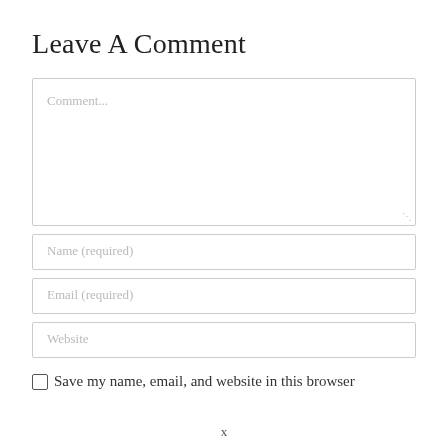Leave A Comment
[Figure (screenshot): A comment form with a large textarea placeholder 'Comment...', followed by input fields for 'Name (required)', 'Email (required)', and 'Website', then a checkbox row with label 'Save my name, email, and website in this browser']
x